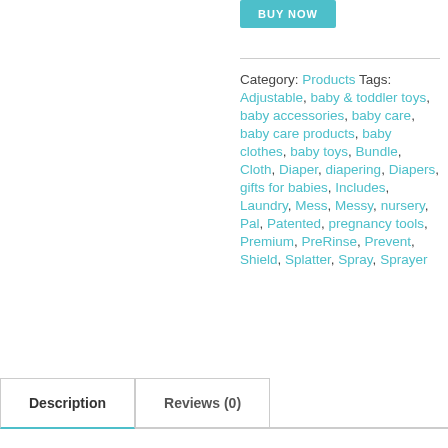BUY NOW
Category: Products Tags: Adjustable, baby & toddler toys, baby accessories, baby care, baby care products, baby clothes, baby toys, Bundle, Cloth, Diaper, diapering, Diapers, gifts for babies, Includes, Laundry, Mess, Messy, nursery, Pal, Patented, pregnancy tools, Premium, PreRinse, Prevent, Shield, Splatter, Spray, Sprayer
Description
Reviews (0)